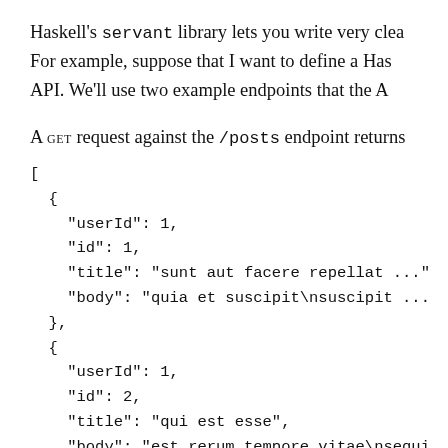Haskell's servant library lets you write very clea... For example, suppose that I want to define a Has... API. We'll use two example endpoints that the A...
A GET request against the /posts endpoint returns...
[
  {
    "userId": 1,
    "id": 1,
    "title": "sunt aut facere repellat ..."
    "body": "quia et suscipit\nsuscipit ...
  },
  {
    "userId": 1,
    "id": 2,
    "title": "qui est esse",
    "body": "est rerum tempore vitae\nsequi...
  },